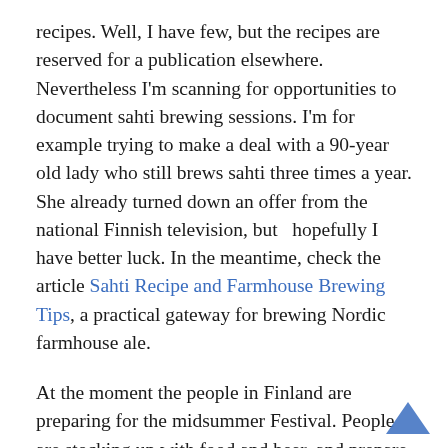recipes. Well, I have few, but the recipes are reserved for a publication elsewhere. Nevertheless I'm scanning for opportunities to document sahti brewing sessions. I'm for example trying to make a deal with a 90-year old lady who still brews sahti three times a year. She already turned down an offer from the national Finnish television, but  hopefully I have better luck. In the meantime, check the article Sahti Recipe and Farmhouse Brewing Tips, a practical gateway for brewing Nordic farmhouse ale.
At the moment the people in Finland are preparing for the midsummer Festival. People are stocking up with food and beer, and prepare to go by the lake and have sauna. This summer solstice is the second most important season for sahti, after winter solstice